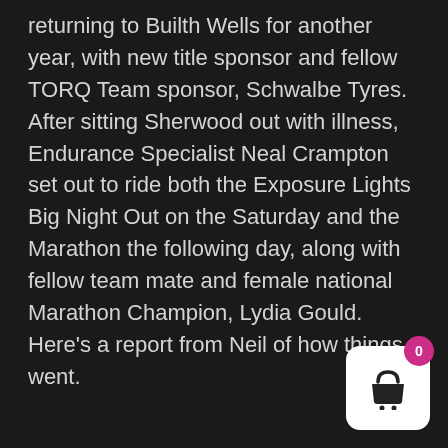returning to Builth Wells for another year, with new title sponsor and fellow TORQ Team sponsor, Schwalbe Tyres. After sitting Sherwood out with illness, Endurance Specialist Neal Crampton set out to ride both the Exposure Lights Big Night Out on the Saturday and the Marathon the following day, along with fellow team mate and female national Marathon Champion, Lydia Gould. Here's a report from Neil of how things went.
[Figure (illustration): Shopping cart icon in a white rounded rectangle with a pink badge showing the number 0]